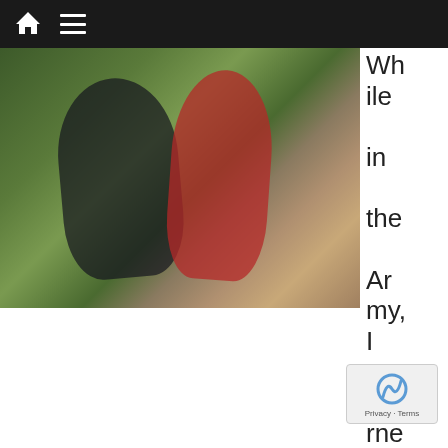Navigation bar with home and menu icons
[Figure (photo): Two women running outdoors on a path with trees in background. One wearing red top, one wearing dark top and leggings.]
While in the Army, I learned the credence, ‘No pain, no gain.’ The phrase was chanted so often morning, noon and night while in basic training that it instilled the belief that if you do not feel pain while working out, then your work out is useless and with no benefit. Nothing is farther from the truth.
When exercising, some mild discomfort is to be